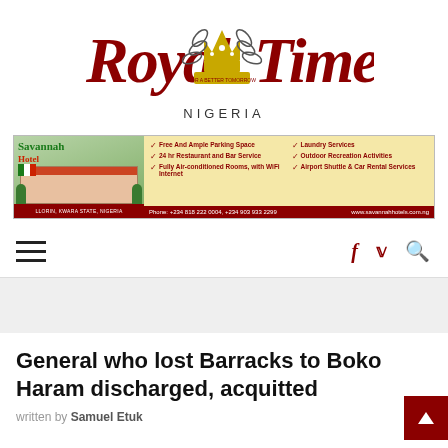[Figure (logo): Royal Times Nigeria newspaper logo with crown and laurel wreath emblem in red gothic lettering with gold crown]
[Figure (infographic): Savannah Hotel advertisement banner listing amenities: Free And Ample Parking Space, Laundry Services, 24 hr Restaurant and Bar Service, Outdoor Recreation Activities, Fully Air-conditioned Rooms with WiFi Internet, Airport Shuttle & Car Rental Services. Phone: +234 818 222 0004, +234 903 933 2299. www.savannahhotels.com.ng]
[Figure (other): Navigation bar with hamburger menu icon on left and social media icons (f, bird/twitter, magnifier) on right in dark red]
General who lost Barracks to Boko Haram discharged, acquitted
written by Samuel Etuk